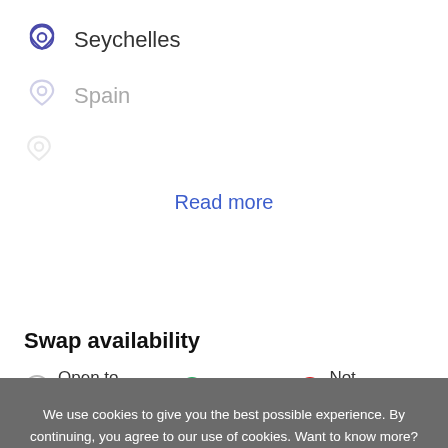Seychelles
Spain
Read more
Swap availability
Open to offers   Available   Not Available
We use cookies to give you the best possible experience. By continuing, you agree to our use of cookies. Want to know more? Check out our Privacy Policy and Cookie Policy
OK, got it